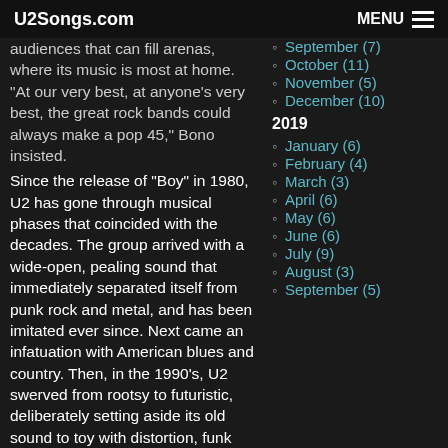U2Songs.com  MENU
audiences that can fill arenas, where its music is most at home. "At our very best, at anyone's very best, the great rock bands could always make a pop 45," Bono insisted.
Since the release of "Boy" in 1980, U2 has gone through musical phases that coincided with the decades. The group arrived with a wide-open, pealing sound that immediately separated itself from punk rock and metal, and has been imitated ever since. Next came an infatuation with American blues and country. Then, in the 1990's, U2 swerved from rootsy to futuristic, deliberately setting aside its old sound to toy with distortion, funk and electronics. Each metamorphosis produced at least one superb album.
September (7)
October (11)
November (5)
December (10)
2019
January (6)
February (4)
March (3)
April (6)
May (6)
June (6)
July (9)
August (3)
September (5)